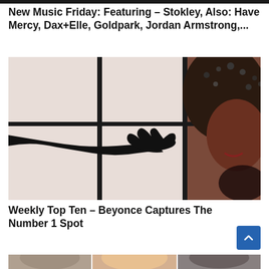New Music Friday: Featuring – Stokley, Also: Have Mercy, Dax+Elle, Goldpark, Jordan Armstrong,...
[Figure (photo): A person in a black long glove reaching out against a window/grid frame background, partially showing a face with dark sparkly material]
Weekly Top Ten – Beyonce Captures The Number 1 Spot
[Figure (photo): Bottom strip showing partial view of multiple people's faces/heads]